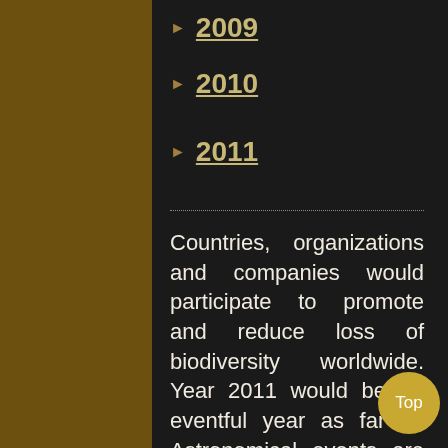► 2009
► 2010
► 2011
Countries, organizations and companies would participate to promote and reduce loss of biodiversity worldwide. Year 2011 would be an eventful year as far as Astronomical events are concerned.The most striking feature of the year 2011 is the translation that Jupiter makes from